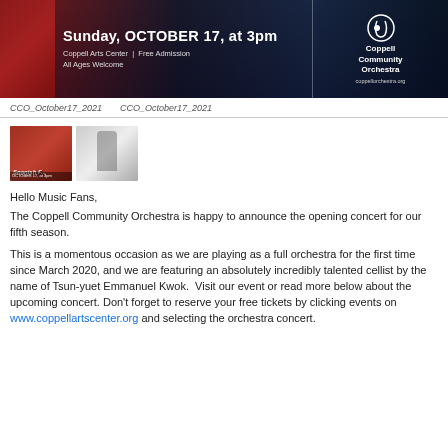[Figure (photo): Concert banner image for Coppell Community Orchestra showing a dancer in red dress and city skyline at night. Text: Sunday, OCTOBER 17, at 3pm | Coppell Arts Center | Free Admission | All Ages Welcome | Coppell Community Orchestra | coppellorchestra.org]
CCO_October17_2021   CCO_October17_2021
[Figure (photo): Two thumbnail images: one showing a Spanish Flair concert poster and one showing a cellist performer]
Hello Music Fans,
The Coppell Community Orchestra is happy to announce the opening concert for our fifth season.
This is a momentous occasion as we are playing as a full orchestra for the first time since March 2020, and we are featuring an absolutely incredibly talented cellist by the name of Tsun-yuet Emmanuel Kwok.  Visit our event or read more below about the upcoming concert. Don't forget to reserve your free tickets by clicking events on www.coppellartscenter.org and selecting the orchestra concert.